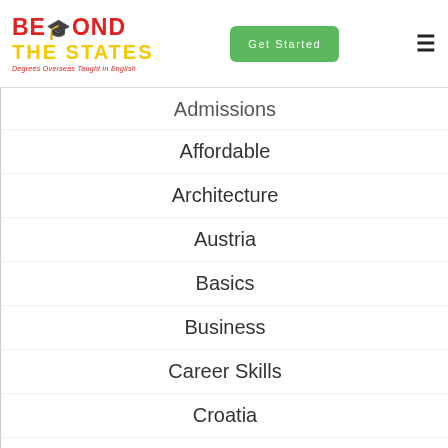Beyond The States — Degrees Overseas Taught in English | Get Started
Admissions
Affordable
Architecture
Austria
Basics
Business
Career Skills
Croatia
Czech Republic
Firsthand